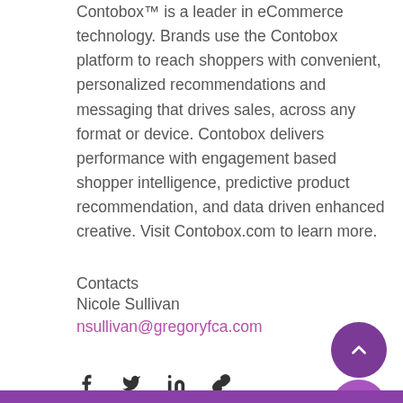Contobox™ is a leader in eCommerce technology. Brands use the Contobox platform to reach shoppers with convenient, personalized recommendations and messaging that drives sales, across any format or device. Contobox delivers performance with engagement based shopper intelligence, predictive product recommendation, and data driven enhanced creative. Visit Contobox.com to learn more.
Contacts
Nicole Sullivan
nsullivan@gregoryfca.com